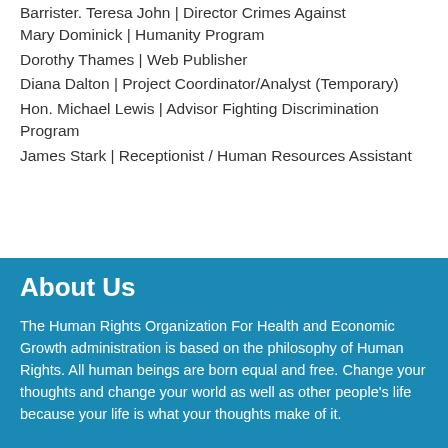Barrister. Teresa John | Director Crimes Against Mary Dominick | Humanity Program
Dorothy Thames | Web Publisher
Diana Dalton | Project Coordinator/Analyst (Temporary)
Hon. Michael Lewis | Advisor Fighting Discrimination Program
James Stark | Receptionist / Human Resources Assistant
About Us
The Human Rights Organization For Health and Economic Growth administration is based on the philosophy of Human Rights. All human beings are born equal and free. Change your thoughts and change your world as well as other people's life because your life is what your thoughts make of it.